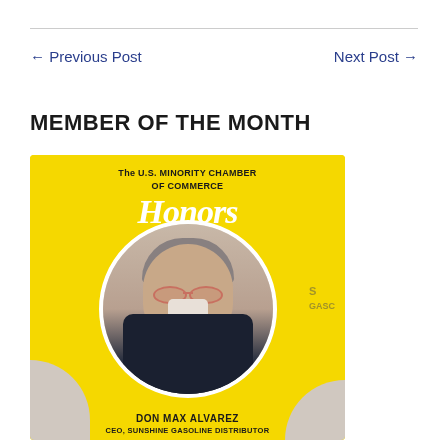← Previous Post
Next Post →
MEMBER OF THE MONTH
[Figure (illustration): US Minority Chamber of Commerce 'Honors' award card with yellow background showing Don Max Alvarez, CEO Sunshine Gasoline Distributor, in a circular photo in the center of the card.]